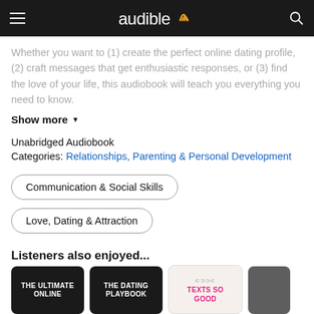audible
Whether you want to (1) create the perfect online dating profile, (2) craft messages that get enthusiastic responses, or (3) find the love of your life, this audiobook will teach you everything you need to know.
Show more
Unabridged Audiobook
Categories: Relationships, Parenting & Personal Development
Communication & Social Skills
Love, Dating & Attraction
Listeners also enjoyed...
[Figure (screenshot): Three audiobook cover thumbnails: 'The Ultimate Online', 'The Dating Playbook', and 'Texts So Good']